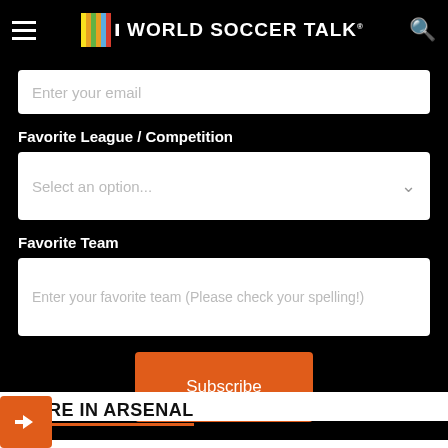World Soccer Talk
Enter your email
Favorite League / Competition
Select an option...
Favorite Team
Enter your favorite team (Please check your spelling!)
Subscribe
MORE IN ARSENAL